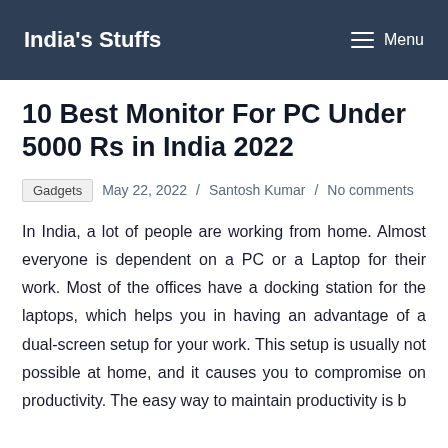India's Stuffs   Menu
10 Best Monitor For PC Under 5000 Rs in India 2022
Gadgets   May 22, 2022 / Santosh Kumar / No comments
In India, a lot of people are working from home. Almost everyone is dependent on a PC or a Laptop for their work. Most of the offices have a docking station for the laptops, which helps you in having an advantage of a dual-screen setup for your work. This setup is usually not possible at home, and it causes you to compromise on productivity. The easy way to maintain productivity is by